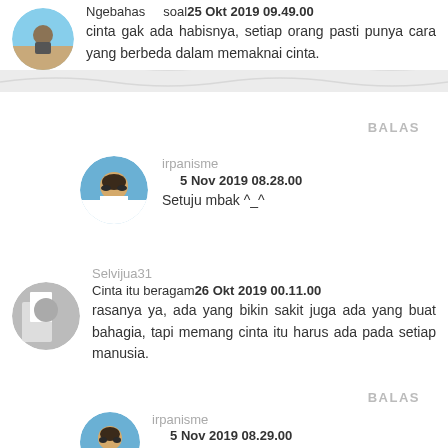Ngebahas soal 25 Okt 2019 09.49.00
cinta gak ada habisnya, setiap orang pasti punya cara yang berbeda dalam memaknai cinta.
BALAS
irpanisme
5 Nov 2019 08.28.00
Setuju mbak ^_^
Selvijua31
Cinta itu beragam 26 Okt 2019 00.11.00
rasanya ya, ada yang bikin sakit juga ada yang buat bahagia, tapi memang cinta itu harus ada pada setiap manusia.
BALAS
irpanisme
5 Nov 2019 08.29.00
Iya mbak, kalau nggak ada perasaan cinta,